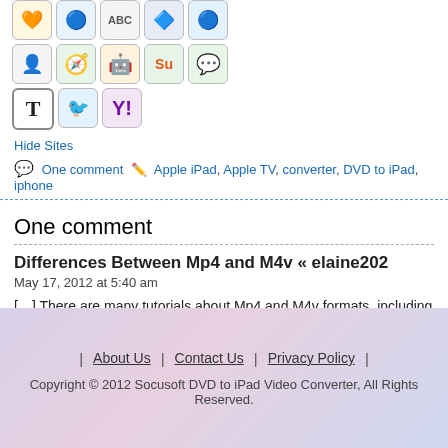[Figure (other): Row of social sharing icon buttons (row 1 partial)]
[Figure (other): Row of social sharing icon buttons: person icon, nav icon, reddit icon, stumbleupon icon, green phone/chat icon]
[Figure (other): Row of social sharing icon buttons: T (Tumblr), Twitter bird, Yahoo Y]
Hide Sites
One comment  Apple iPad, Apple TV, converter, DVD to iPad, iphone
One comment
Differences Between Mp4 and M4v « elaine202
May 17, 2012 at 5:40 am
[…] There are many tutorials about Mp4 and M4v formats, including how how to convert Mkv to M4v on Mac, etc. Share this:TwitterFacebookLike this […]
| About Us | Contact Us | Privacy Policy | Copyright © 2012 Socusoft DVD to iPad Video Converter, All Rights Reserved.